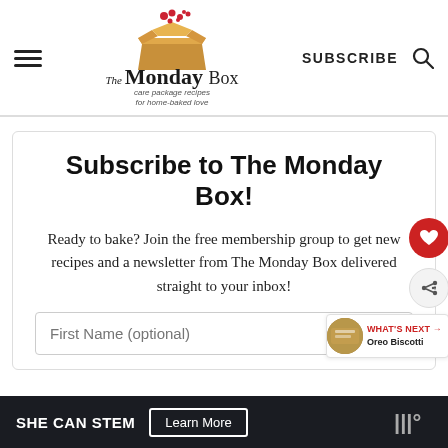The Monday Box — care package recipes for home-baked love | SUBSCRIBE | Search
Subscribe to The Monday Box!
Ready to bake? Join the free membership group to get new recipes and a newsletter from The Monday Box delivered straight to your inbox!
First Name (optional)
WHAT'S NEXT → Oreo Biscotti
SHE CAN STEM  Learn More